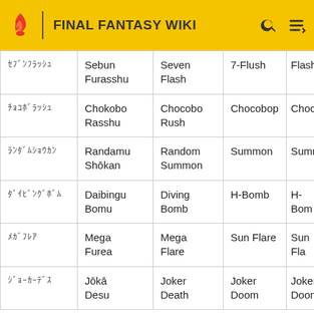FINAL FANTASY WIKI
| Japanese | Romaji | English | GBA | PS |
| --- | --- | --- | --- | --- |
| ｾﾌﾞﾝﾌﾗｯｼｭ | Sebun Furasshu | Seven Flash | 7-Flush | Flash |
| ﾁｮｺﾎﾞﾗｯｼｭ | Chokobo Rasshu | Chocobo Rush | Chocobop | Chocol |
| ﾗﾝﾀﾞﾑｼｮｳｶﾝ | Randamu Shōkan | Random Summon | Summon | Summo |
| ﾀﾞｲﾋﾞﾝｸﾞﾎﾞﾑ | Daibingu Bomu | Diving Bomb | H-Bomb | H-Bom |
| ﾒｶﾞﾌﾚｱ | Mega Furea | Mega Flare | Sun Flare | Sun Fla |
| ｼﾞｮｰｶｰﾃﾞｽ | Jōkā Desu | Joker Death | Joker Doom | Joker Doom |
Dance